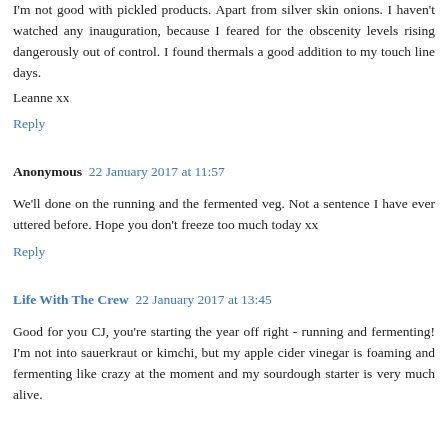I'm not good with pickled products. Apart from silver skin onions. I haven't watched any inauguration, because I feared for the obscenity levels rising dangerously out of control. I found thermals a good addition to my touch line days.
Leanne xx
Reply
Anonymous 22 January 2017 at 11:57
We'll done on the running and the fermented veg. Not a sentence I have ever uttered before. Hope you don't freeze too much today xx
Reply
Life With The Crew 22 January 2017 at 13:45
Good for you CJ, you're starting the year off right - running and fermenting! I'm not into sauerkraut or kimchi, but my apple cider vinegar is foaming and fermenting like crazy at the moment and my sourdough starter is very much alive.